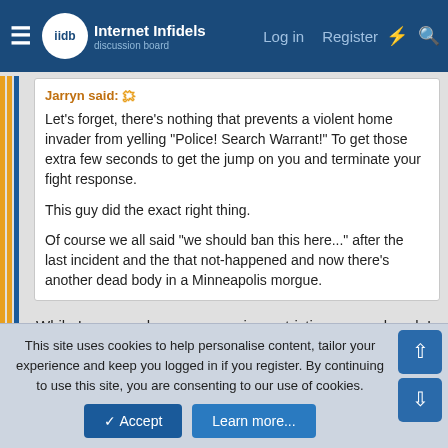Internet Infidels — Log in  Register
Jarryn said:
Let's forget, there's nothing that prevents a violent home invader from yelling "Police! Search Warrant!" To get those extra few seconds to get the jump on you and terminate your fight response.

This guy did the exact right thing.

Of course we all said "we should ban this here..." after the last incident and the that not-happened and now there's another dead body in a Minneapolis morgue.
While I very much agree on major restrictions on no-knock I don't have much sympathy for someone who sleeps with a gun in the bed. That's someone who is likely to come up shooting.
This site uses cookies to help personalise content, tailor your experience and keep you logged in if you register.
By continuing to use this site, you are consenting to our use of cookies.